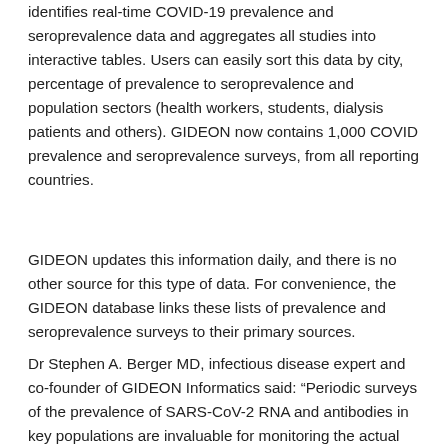identifies real-time COVID-19 prevalence and seroprevalence data and aggregates all studies into interactive tables. Users can easily sort this data by city, percentage of prevalence to seroprevalence and population sectors (health workers, students, dialysis patients and others). GIDEON now contains 1,000 COVID prevalence and seroprevalence surveys, from all reporting countries.
GIDEON updates this information daily, and there is no other source for this type of data. For convenience, the GIDEON database links these lists of prevalence and seroprevalence surveys to their primary sources.
Dr Stephen A. Berger MD, infectious disease expert and co-founder of GIDEON Informatics said: “Periodic surveys of the prevalence of SARS-CoV-2 RNA and antibodies in key populations are invaluable for monitoring the actual extent of the current pandemic. . About 1,000 COVID-19 prevalence and